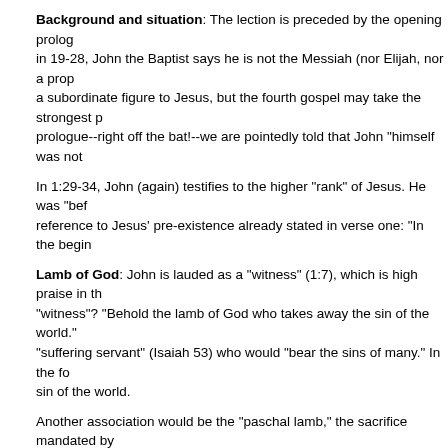Background and situation: The lection is preceded by the opening prologue in 19-28, John the Baptist says he is not the Messiah (nor Elijah, nor a prop... a subordinate figure to Jesus, but the fourth gospel may take the strongest prologue--right off the bat!--we are pointedly told that John "himself was not...
In 1:29-34, John (again) testifies to the higher "rank" of Jesus. He was "bef... reference to Jesus' pre-existence already stated in verse one: "In the begin...
Lamb of God: John is lauded as a "witness" (1:7), which is high praise in th... "witness"? "Behold the lamb of God who takes away the sin of the world." "suffering servant" (Isaiah 53) who would "bear the sins of many." In the fo... sin of the world.
Another association would be the "paschal lamb," the sacrifice mandated by... gospel, Jesus will be condemned to death at noon on the day before passo... lambs were slain in the Temple. (Ray Brown says that the hyssop Jesus w... the hyssop that was smeared with the blood of the paschal lamb which was... Israelites (Ex 12:22).) The fourth gospel likes passover themes.
The Lamb of God takes away the sin of the world--note the singular. Here, power, a view which also appears in Paul. The Lamb defeats the enslaving in other words, and not about the snarky remark you made to Aunt Freda ab... is no sacrificial language here, which Ray Brown also notes and, good Cath...
John's witness: Verses 29-34 contain the fourth gospel's narrative of the b... Why not? Mark says that John's baptism was a "baptism of repentance for...